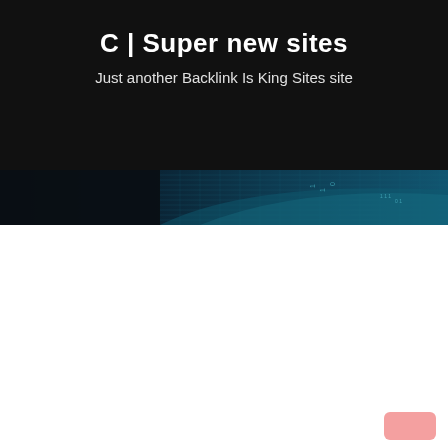C | Super new sites
Just another Backlink Is King Sites site
[Figure (illustration): Dark banner with teal/blue digital network grid pattern with binary numbers (1, 0) overlaid, creating a tech-themed decorative header strip]
[Figure (other): Small pink/salmon rounded rectangle button in the bottom-right corner of the page]